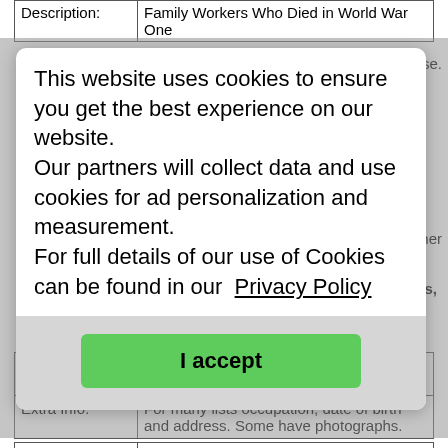|  |  |
| --- | --- |
| Description: | Family Workers Who Died in World War One |
This website uses cookies to ensure you get the best experience on our website. Our partners will collect data and use cookies for ad personalization and measurement. For full details of our use of Cookies can be found in our Privacy Policy
I accept
|  |  |
| --- | --- |
| Description: | Royal Aero Club Aviators' Certificates, 1910-1950 |
| Extra Info: | For many lists occupation, date of birth and address. Some have photographs. |
|  |  |
| --- | --- |
| Classification: | Occupations / Trades / Apprentices |
| Title: | Royal College of Physicians |
| Link: | https://history.rcplondon.ac.uk/inspiring-physicia... |
| Description: | Royal College of Physicians |
|  | The Munks Roll list of obituaries of... |